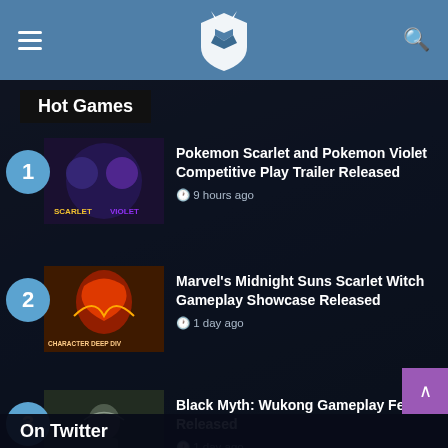Hot Games gaming website header with hamburger menu, shield logo, and search icon
Hot Games
1. Pokemon Scarlet and Pokemon Violet Competitive Play Trailer Released — 9 hours ago
2. Marvel's Midnight Suns Scarlet Witch Gameplay Showcase Released — 1 day ago
3. Black Myth: Wukong Gameplay Feature Released — 1 day ago
On Twitter